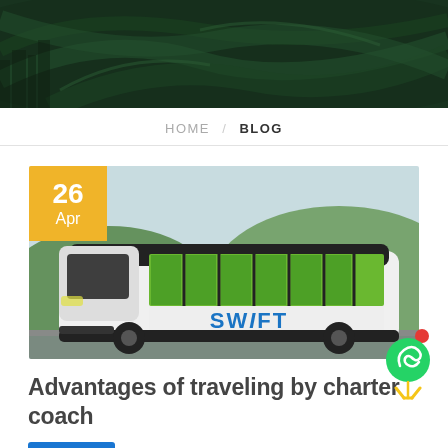[Figure (photo): Aerial/top-down view of highway interchange with green tones, used as hero banner background]
HOME / BLOG
[Figure (photo): A white and green Swift charter coach bus parked in front of green hills. Date badge showing 26 Apr overlaid top-left.]
Advantages of traveling by charter coach
[Figure (illustration): WhatsApp floating contact button with green icon and red notification dot]